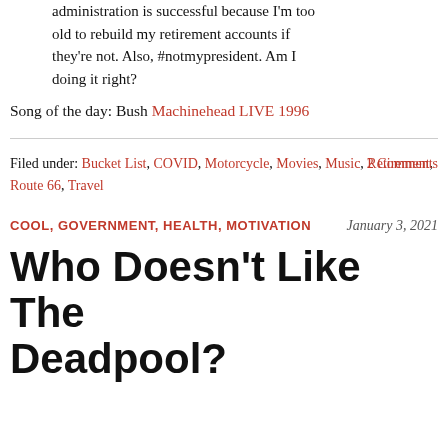administration is successful because I'm too old to rebuild my retirement accounts if they're not. Also, #notmypresident. Am I doing it right?
Song of the day: Bush Machinehead LIVE 1996
Filed under: Bucket List, COVID, Motorcycle, Movies, Music, Retirement, Route 66, Travel    2 Comments
COOL, GOVERNMENT, HEALTH, MOTIVATION    January 3, 2021
Who Doesn't Like The Deadpool?